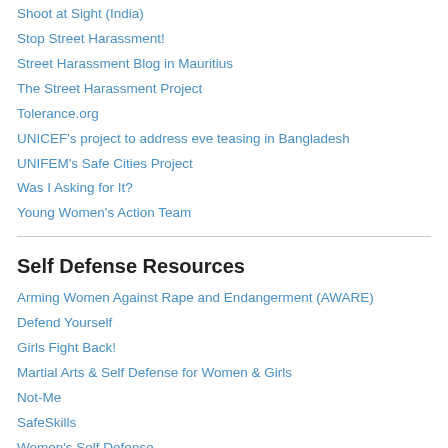Shoot at Sight (India)
Stop Street Harassment!
Street Harassment Blog in Mauritius
The Street Harassment Project
Tolerance.org
UNICEF's project to address eve teasing in Bangladesh
UNIFEM's Safe Cities Project
Was I Asking for It?
Young Women's Action Team
Self Defense Resources
Arming Women Against Rape and Endangerment (AWARE)
Defend Yourself
Girls Fight Back!
Martial Arts & Self Defense for Women & Girls
Not-Me
SafeSkills
Women's Self Defense